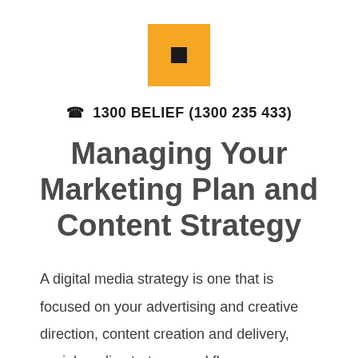[Figure (logo): Orange square with a small dark square inside, serving as a company logo]
☎ 1300 BELIEF (1300 235 433)
Managing Your Marketing Plan and Content Strategy
A digital media strategy is one that is focused on your advertising and creative direction, content creation and delivery, social media strategy, workflow management, and most